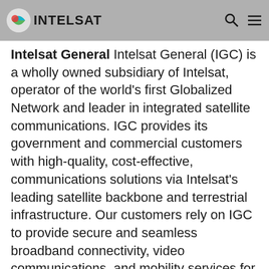Intelsat General Intelsat General (IGC) is a wholly owned subsidiary of Intelsat, operator of the world's first Globalized Network and leader in integrated satellite communications.
Intelsat General (IGC) is a wholly owned subsidiary of Intelsat, operator of the world's first Globalized Network and leader in integrated satellite communications. IGC provides its government and commercial customers with high-quality, cost-effective, communications solutions via Intelsat's leading satellite backbone and terrestrial infrastructure. Our customers rely on IGC to provide secure and seamless broadband connectivity, video communications, and mobility services for mission-critical operations anywhere on the globe through our open, inter-operable architecture. www.intelsatgeneral.com
###